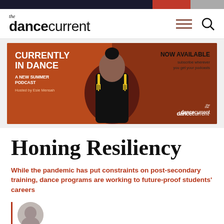the dance current
[Figure (photo): Banner advertisement for 'Currently in Dance: A New Summer Podcast', hosted by Esie Mensah. Now Available — subscribe wherever you get your podcasts. Features a photo of a woman with yellow tassel earrings seated in a leather chair against an orange/brown background. The Dance Current logo appears in the lower right.]
Honing Resiliency
While the pandemic has put constraints on post-secondary training, dance programs are working to future-proof students' careers
[Figure (photo): Circular author avatar photo, partially visible at bottom of page.]